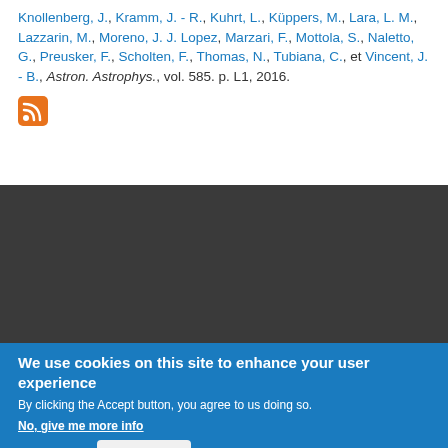Knollenberg, J., Kramm, J. - R., Kuhrt, L., Küppers, M., Lara, L. M., Lazzarin, M., Moreno, J. J. Lopez, Marzari, F., Mottola, S., Naletto, G., Preusker, F., Scholten, F., Thomas, N., Tubiana, C., et Vincent, J. - B., Astron. Astrophys., vol. 585. p. L1, 2016.
[Figure (other): RSS feed icon (orange square with white RSS symbol)]
[Figure (other): Dark gray background section (website footer/overlay area)]
We use cookies on this site to enhance your user experience
By clicking the Accept button, you agree to us doing so.
No, give me more info
OK, I agree
No, thanks